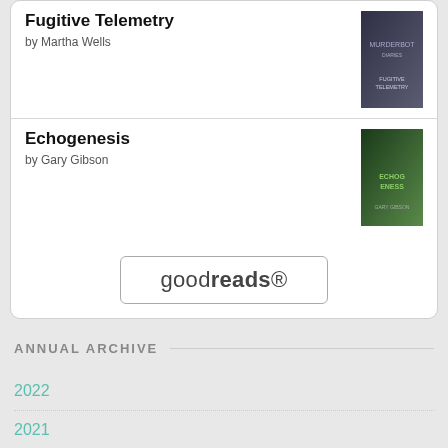Fugitive Telemetry
by Martha Wells
Echogenesis
by Gary Gibson
[Figure (logo): goodreads logo inside a rounded rectangle button]
ANNUAL ARCHIVE
2022
2021
2020